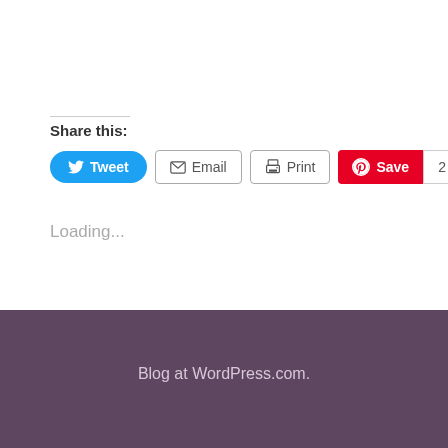Share this:
[Figure (screenshot): Social sharing buttons row: Tweet (blue rounded), Email (outlined), Print (outlined), Save with Pinterest (red, count badge showing 2)]
Loading...
Blog at WordPress.com.